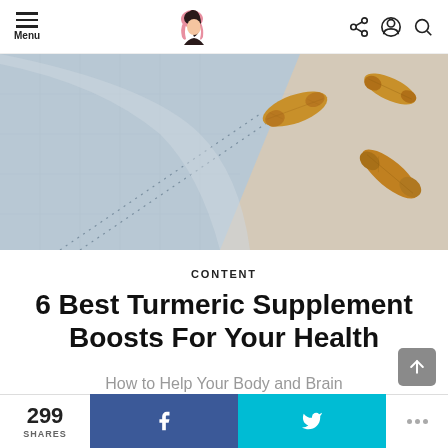Menu [navigation bar with logo and icons]
[Figure (photo): Hero image showing a blue linen/fabric draped over a beige surface with turmeric root pieces on the right side]
CONTENT
6 Best Turmeric Supplement Boosts For Your Health
How to Help Your Body and Brain
299 SHARES | Facebook share | Twitter share | more options